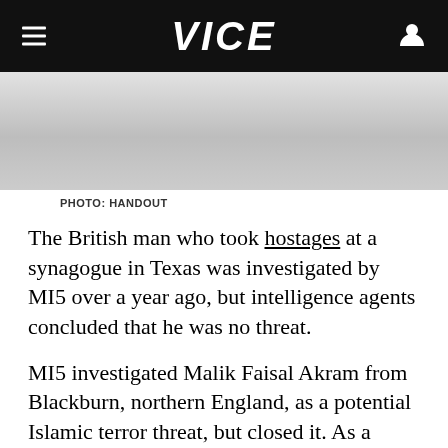VICE
[Figure (photo): Blurred/redacted photograph, light gray background]
PHOTO: HANDOUT
The British man who took hostages at a synagogue in Texas was investigated by MI5 over a year ago, but intelligence agents concluded that he was no threat.
MI5 investigated Malik Faisal Akram from Blackburn, northern England, as a potential Islamic terror threat, but closed it. As a result he was able to fly to the US between Christmas